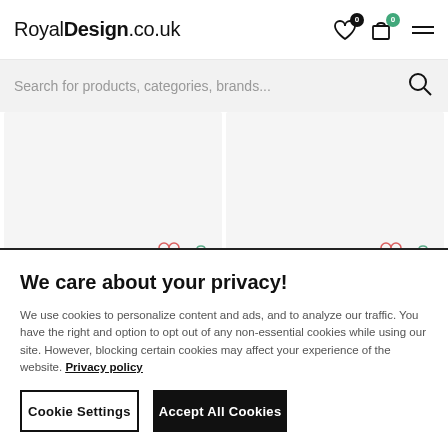RoyalDesign.co.uk
Search for products, categories, brands...
[Figure (screenshot): Two product image cards with heart and shopping bag icons, shown as light grey placeholder boxes in a 2-column grid.]
We care about your privacy!
We use cookies to personalize content and ads, and to analyze our traffic. You have the right and option to opt out of any non-essential cookies while using our site. However, blocking certain cookies may affect your experience of the website. Privacy policy
Cookie Settings
Accept All Cookies